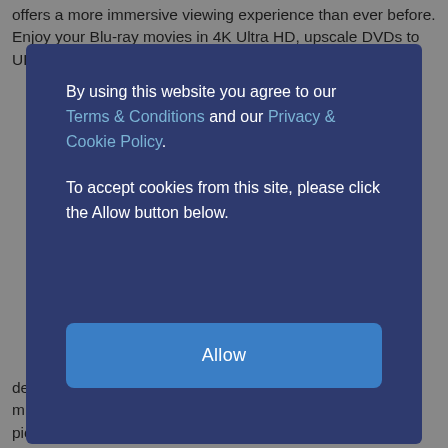offers a more immersive viewing experience than ever before. Enjoy your Blu-ray movies in 4K Ultra HD, upscale DVDs to UHD and convert films to 3D. You can even gain
By using this website you agree to our Terms & Conditions and our Privacy & Cookie Policy.

To accept cookies from this site, please click the Allow button below.
Allow
device directly to your compatible TV. With Miracast screen mirroring and super Wi-Fi, streaming your favourite videos, pictures and more is fun and easy.